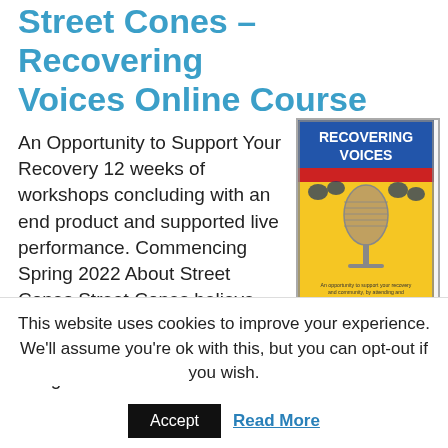Street Cones – Recovering Voices Online Course
An Opportunity to Support Your Recovery 12 weeks of workshops concluding with an end product and supported live performance. Commencing Spring 2022 About Street Cones Street Cones believe passionately that the Arts can be used to give people who are marginalized a voice to
[Figure (illustration): Poster for 'Recovering Voices' program showing a vintage microphone with a crowd in the background and program details text below on a yellow background]
This website uses cookies to improve your experience. We'll assume you're ok with this, but you can opt-out if you wish.
Accept   Read More